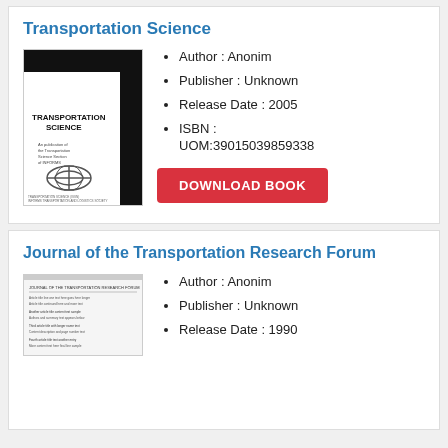Transportation Science
[Figure (illustration): Book cover of Transportation Science journal showing circular interchange diagram]
Author : Anonim
Publisher : Unknown
Release Date : 2005
ISBN : UOM:39015039859338
DOWNLOAD BOOK
Journal of the Transportation Research Forum
[Figure (illustration): Book cover of Journal of the Transportation Research Forum]
Author : Anonim
Publisher : Unknown
Release Date : 1990